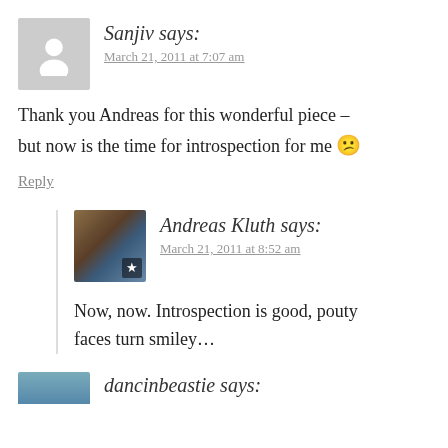Sanjiv says:
March 21, 2011 at 7:07 am
Thank you Andreas for this wonderful piece – but now is the time for introspection for me 😕
Reply
Andreas Kluth says:
March 21, 2011 at 8:52 am
Now, now. Introspection is good, pouty faces turn smiley...
dancinbeastie says: